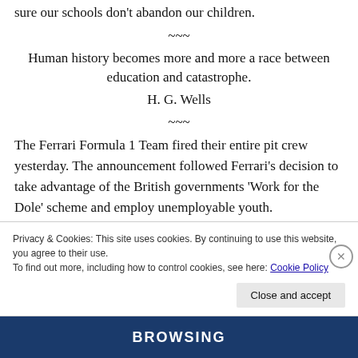sure our schools don't abandon our children.
~~~
Human history becomes more and more a race between education and catastrophe.
H. G. Wells
~~~
The Ferrari Formula 1 Team fired their entire pit crew yesterday. The announcement followed Ferrari's decision to take advantage of the British governments 'Work for the Dole' scheme and employ unemployable youth. The decision to hire them was brought on by a recent
Privacy & Cookies: This site uses cookies. By continuing to use this website, you agree to their use.
To find out more, including how to control cookies, see here: Cookie Policy
Close and accept